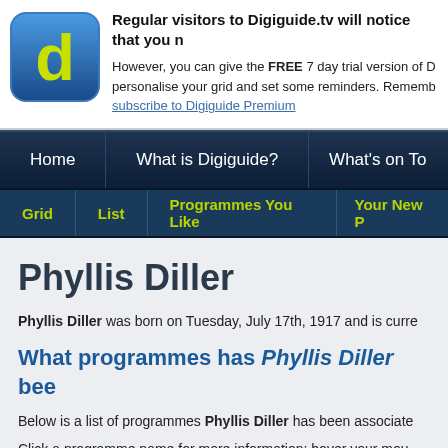Regular visitors to Digiguide.tv will notice that you n
However, you can give the FREE 7 day trial version of D personalise your grid and set some reminders. Rememb subscribe to Digiguide Premium
[Figure (logo): Digiguide app logo — blue rounded square with yellow-green letter d]
Home | What is Digiguide? | What's on To
Grid | List | Programmes You Like | Your New P
Phyllis Diller
Phyllis Diller was born on Tuesday, July 17th, 1917 and is curre
What programmes has Phyllis Diller bee
Below is a list of programmes Phyllis Diller has been associate
Click a programme name for more information; hover your mou